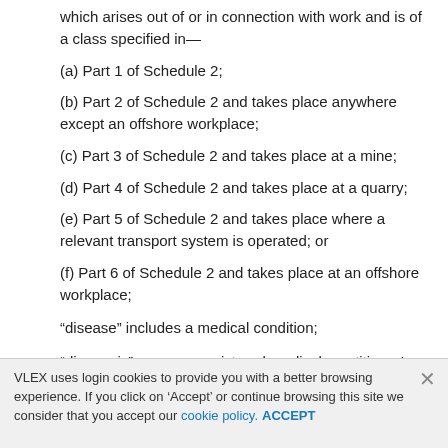which arises out of or in connection with work and is of a class specified in—
(a) Part 1 of Schedule 2;
(b) Part 2 of Schedule 2 and takes place anywhere except an offshore workplace;
(c) Part 3 of Schedule 2 and takes place at a mine;
(d) Part 4 of Schedule 2 and takes place at a quarry;
(e) Part 5 of Schedule 2 and takes place where a relevant transport system is operated; or
(f) Part 6 of Schedule 2 and takes place at an offshore workplace;
“disease” includes a medical condition;
“diagnosis” means a registered medical practitioner’s identification (in writing, where it
VLEX uses login cookies to provide you with a better browsing experience. If you click on ‘Accept’ or continue browsing this site we consider that you accept our cookie policy. ACCEPT